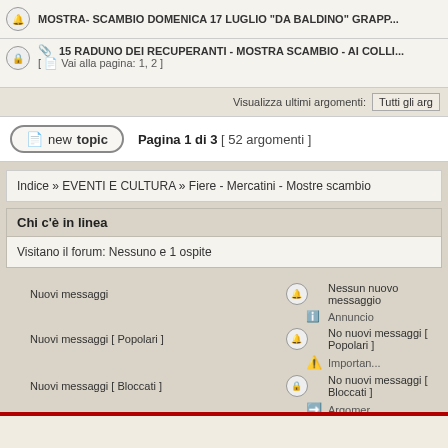MOSTRA- SCAMBIO DOMENICA 17 LUGLIO "DA BALDINO" GRAPP...
15 RADUNO DEI RECUPERANTI - MOSTRA SCAMBIO - AI COLLI... [ Vai alla pagina: 1, 2 ]
Visualizza ultimi argomenti: Tutti gli arg
Pagina 1 di 3 [ 52 argomenti ]
Indice » EVENTI E CULTURA » Fiere - Mercatini - Mostre scambio
Chi c'è in linea
Visitano il forum: Nessuno e 1 ospite
Nuovi messaggi
Nessun nuovo messaggio
Annuncio
Nuovi messaggi [ Popolari ]
No nuovi messaggi [ Popolari ]
Importan...
Nuovi messaggi [ Bloccati ]
No nuovi messaggi [ Bloccati ]
Argomer...
Cerca per:
Powered by phpB... Template made by DEVPPL - Tr...